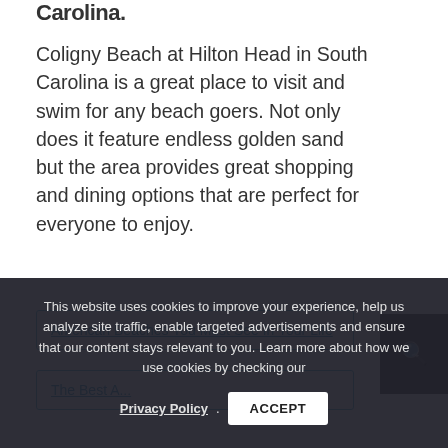Carolina.
Coligny Beach at Hilton Head in South Carolina is a great place to visit and swim for any beach goers. Not only does it feature endless golden sand but the area provides great shopping and dining options that are perfect for everyone to enjoy.
American Beaches You Must See In Your Life
The Best A...
This website uses cookies to improve your experience, help us analyze site traffic, enable targeted advertisements and ensure that our content stays relevant to you. Learn more about how we use cookies by checking our Privacy Policy. ACCEPT